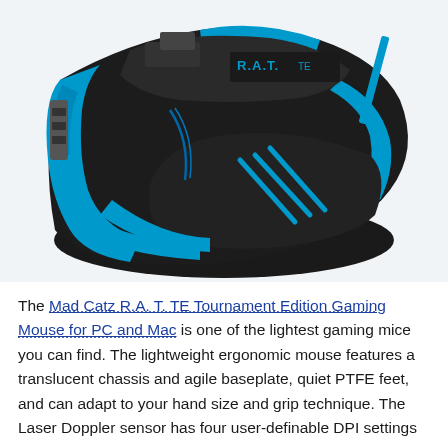[Figure (photo): A Mad Catz R.A.T. TE Tournament Edition Gaming Mouse with a black and bright blue color scheme, showing the skeletal ergonomic frame with exposed internals, claw scratch marks on the side panel, and the R.A.T. TE logo on the top surface.]
The Mad Catz R.A. T. TE Tournament Edition Gaming Mouse for PC and Mac is one of the lightest gaming mice you can find. The lightweight ergonomic mouse features a translucent chassis and agile baseplate, quiet PTFE feet, and can adapt to your hand size and grip technique. The Laser Doppler sensor has four user-definable DPI settings